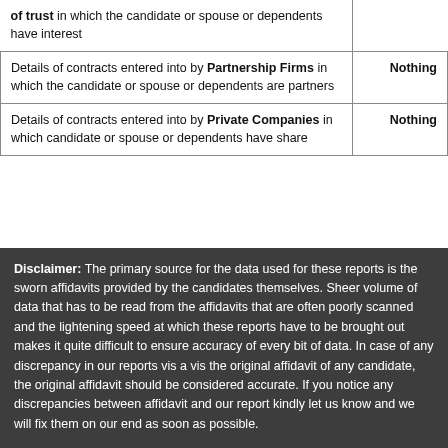| Description | Value |
| --- | --- |
| of trust in which the candidate or spouse or dependents have interest |  |
| Details of contracts entered into by Partnership Firms in which the candidate or spouse or dependents are partners | Nothing |
| Details of contracts entered into by Private Companies in which candidate or spouse or dependents have share | Nothing |
Disclaimer: The primary source for the data used for these reports is the sworn affidavits provided by the candidates themselves. Sheer volume of data that has to be read from the affidavits that are often poorly scanned and the lightening speed at which these reports have to be brought out makes it quite difficult to ensure accuracy of every bit of data. In case of any discrepancy in our reports vis a vis the original affidavit of any candidate, the original affidavit should be considered accurate. If you notice any discrepancies between affidavit and our report kindly let us know and we will fix them on our end as soon as possible.